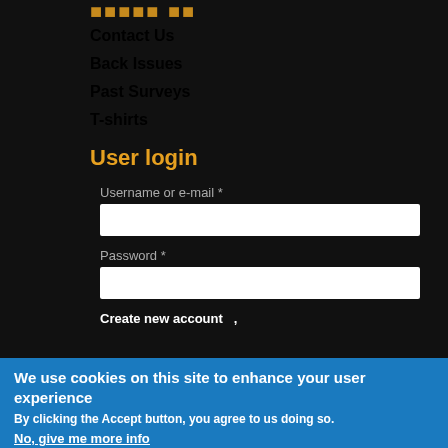Contact Us
Back Issues
Past Surveys
T-shirts
User login
Username or e-mail *
Password *
Create new account
We use cookies on this site to enhance your user experience
By clicking the Accept button, you agree to us doing so.
No, give me more info